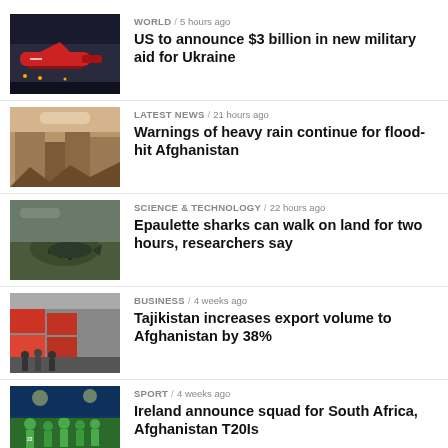WORLD / 5 hours ago — US to announce $3 billion in new military aid for Ukraine
LATEST NEWS / 21 hours ago — Warnings of heavy rain continue for flood-hit Afghanistan
SCIENCE & TECHNOLOGY / 22 hours ago — Epaulette sharks can walk on land for two hours, researchers say
BUSINESS / 4 weeks ago — Tajikistan increases export volume to Afghanistan by 38%
SPORT / 4 weeks ago — Ireland announce squad for South Africa, Afghanistan T20Is